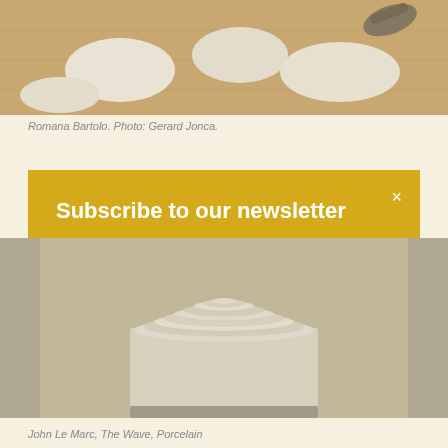[Figure (photo): Top portion of an art installation photo showing white speech-bubble or cloud shapes on a wooden floor with a person's foot visible]
Romana Bartolo. Photo: Gerard Jonca.
Subscribe to our newsletter
×
Highlights From the Previous Week, Partnered Events and Haikus. View our Newsletter archive
Your Email address →
[Figure (photo): Bottom portion of an art installation showing concentric white circular ridges on a white cube/pedestal in a gallery setting]
John Le Marc, The Wave, Porcelain